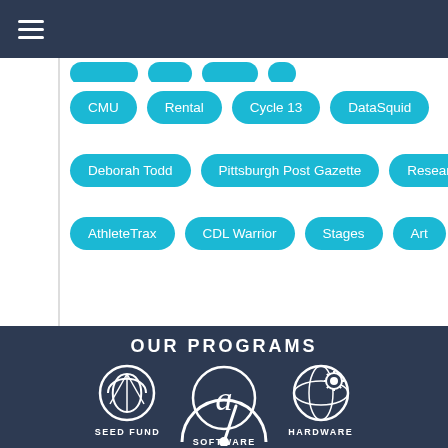Navigation menu
CMU
Rental
Cycle 13
DataSquid
Deborah Todd
Pittsburgh Post Gazette
ResearchWe
AthleteTrax
CDL Warrior
Stages
Art
OUR PROGRAMS
[Figure (infographic): Three program icons: Seed Fund (geometric circle icon), Software (letter a in circle), Hardware (globe/gear circle icon), and a partial speedometer icon at the bottom]
SEED FUND
SOFTWARE
HARDWARE